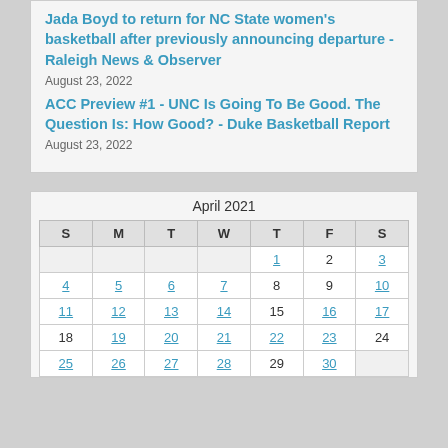Jada Boyd to return for NC State women's basketball after previously announcing departure - Raleigh News & Observer
August 23, 2022
ACC Preview #1 - UNC Is Going To Be Good. The Question Is: How Good? - Duke Basketball Report
August 23, 2022
| S | M | T | W | T | F | S |
| --- | --- | --- | --- | --- | --- | --- |
|  |  |  |  | 1 | 2 | 3 |
| 4 | 5 | 6 | 7 | 8 | 9 | 10 |
| 11 | 12 | 13 | 14 | 15 | 16 | 17 |
| 18 | 19 | 20 | 21 | 22 | 23 | 24 |
| 25 | 26 | 27 | 28 | 29 | 30 |  |